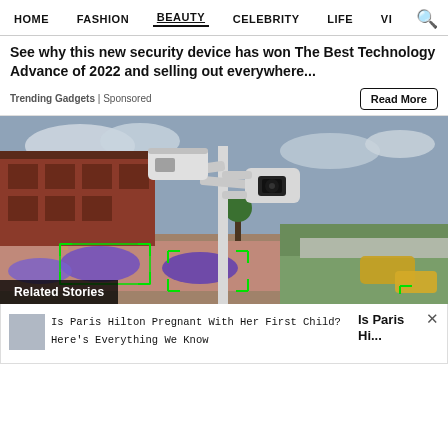HOME  FASHION  BEAUTY  CELEBRITY  LIFE  VI  🔍
See why this new security device has won The Best Technology Advance of 2022 and selling out everywhere...
Trending Gadgets | Sponsored
[Figure (photo): Security camera on a pole overlooking a street with traffic, cars highlighted with green detection boxes. Related Stories overlay in bottom left.]
Is Paris Hilton Pregnant With Her First Child? Here's Everything We Know  Is Paris Hi...